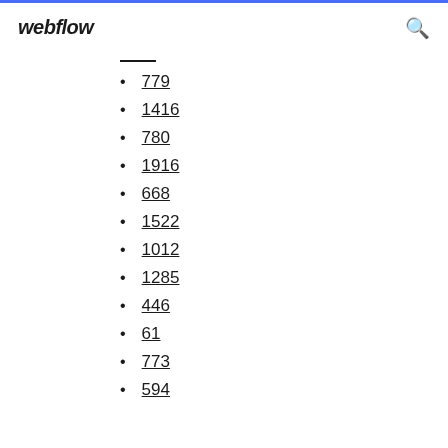webflow
779
1416
780
1916
668
1522
1012
1285
446
61
773
594